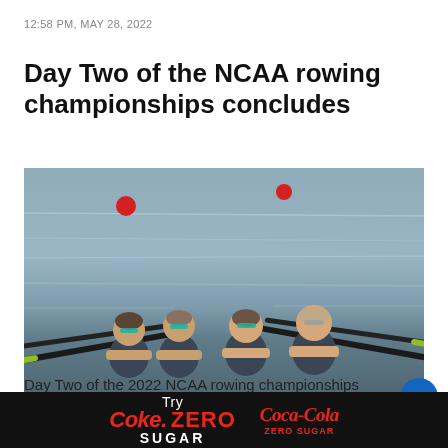12:58 PM, MAY 28, 2022
Day Two of the NCAA rowing championships concludes
[Figure (photo): Four female rowers in a yellow rowing boat on the water, wearing dark uniforms and sunglasses, leaning forward at the catch position. Red buoys visible in the background water.]
Day Two of the 2022 NCAA rowing championships wrapped up at Nathan Benderson Park in Sarasota, Fla., where the
[Figure (other): Advertisement banner: Try Coke Zero Sugar - Coca-Cola Zero Sugar, black background with red text]